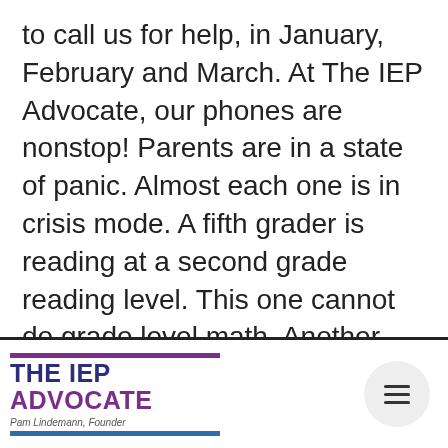to call us for help, in January, February and March. At The IEP Advocate, our phones are nonstop! Parents are in a state of panic. Almost each one is in crisis mode. A fifth grader is reading at a second grade reading level. This one cannot do grade level math. Another child is at risk for being retained. My heart goes out to each and every one of these families.
Parents want a miracle to happen
[Figure (logo): The IEP Advocate logo with purple and blue horizontal bars, text reading THE IEP ADVOCATE and Pam Lindemann, Founder]